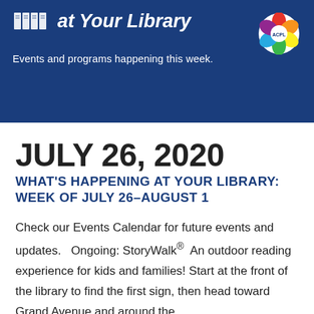at Your Library — Events and programs happening this week.
JULY 26, 2020
WHAT'S HAPPENING AT YOUR LIBRARY: WEEK OF JULY 26–AUGUST 1
Check our Events Calendar for future events and updates.   Ongoing: StoryWalk®  An outdoor reading experience for kids and families! Start at the front of the library to find the first sign, then head toward Grand Avenue and around the